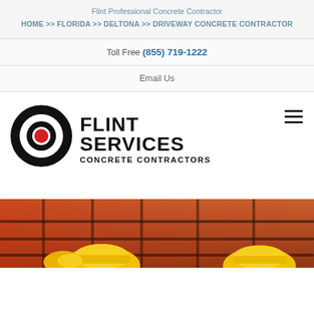Flint Professional Concrete Contractor
HOME >> FLORIDA >> DELTONA >> DRIVEWAY CONCRETE CONTRACTOR
Toll Free (855) 719-1222
Email Us
[Figure (logo): Flint Services Concrete Contractors logo with bullseye target icon (black outer ring, white middle ring, red center) and bold text FLINT SERVICES CONCRETE CONTRACTORS]
[Figure (photo): Construction site photo showing rebar/reinforcement steel and workers wearing yellow hard hats]